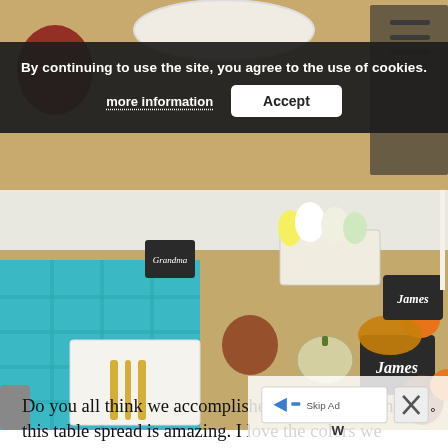[Figure (photo): Top partial photo of a Thanksgiving table setting with pumpkins and plates visible, partially obscured by cookie consent banner.]
By continuing to use the site, you agree to the use of cookies.
more information   Accept
[Figure (photo): Thanksgiving dinner table with teal tablecloth over burlap runner, white square plates, gold cutlery, chalkboard name tags reading 'James', pumpkins, pretzels, flowers in white wood box, wine glasses with dark liquid.]
Do you all think we accomplished our goal? I think this table spread is amazing. I love the colors we chose, the food we picked, and of course our amazing DIY Cricut projects and t...